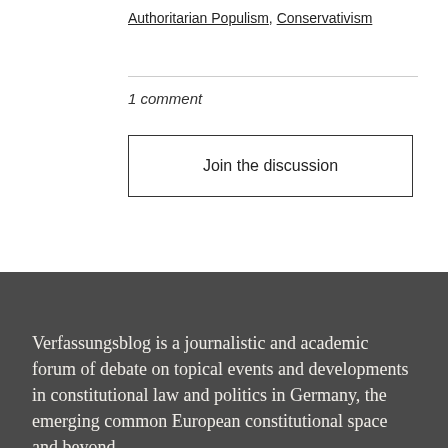Authoritarian Populism, Conservativism
1 comment
Join the discussion
Verfassungsblog is a journalistic and academic forum of debate on topical events and developments in constitutional law and politics in Germany, the emerging common European constitutional space and beyond.